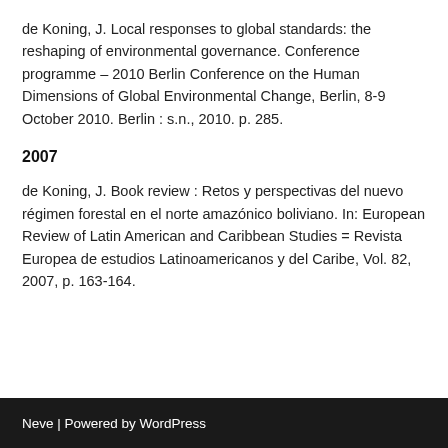de Koning, J. Local responses to global standards: the reshaping of environmental governance. Conference programme – 2010 Berlin Conference on the Human Dimensions of Global Environmental Change, Berlin, 8-9 October 2010. Berlin : s.n., 2010. p. 285.
2007
de Koning, J. Book review : Retos y perspectivas del nuevo régimen forestal en el norte amazónico boliviano. In: European Review of Latin American and Caribbean Studies = Revista Europea de estudios Latinoamericanos y del Caribe, Vol. 82, 2007, p. 163-164.
Neve | Powered by WordPress